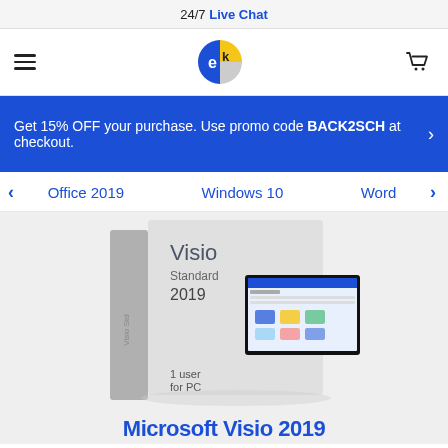24/7 Live Chat
[Figure (logo): EK software store logo — blue and yellow pie-slice style logo with 'ek' letters, hamburger menu icon on left, shopping cart icon on right]
Get 15% OFF your purchase. Use promo code BACK2SCH at checkout.
Office 2019   Windows 10   Word
[Figure (photo): Microsoft Visio Standard 2019 product box with '1 user for PC' label, showing a screen with Visio diagrams, on a light grey background]
Microsoft Visio 2019